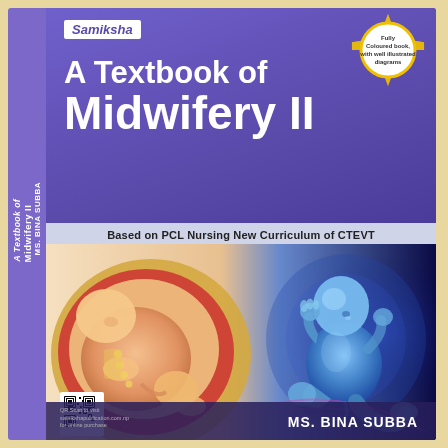A Textbook of Midwifery II
Samiksha
Fully Coloured book, with well illustrated diagrams
Based on PCL Nursing New Curriculum of CTEVT
[Figure (illustration): Medical illustration showing cross-section of fetus in uterus (left) and 3D blue-toned glowing fetus in space (right)]
MS. BINA SUBBA
A Textbook of Midwifery II  MS. BINA SUBBA